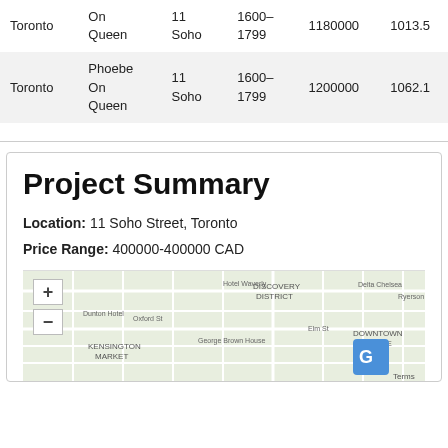| City | Building | Builder | Price Range | List Price | Sq Ft |
| --- | --- | --- | --- | --- | --- |
| Toronto | On Queen | 11 Soho | 1600-1799 | 1180000 | 1013.5 |
| Toronto | Phoebe On Queen | 11 Soho | 1600-1799 | 1200000 | 1062.1 |
Project Summary
Location: 11 Soho Street, Toronto
Price Range: 400000-400000 CAD
[Figure (map): Street map of Toronto area showing Kensington Market, Discovery District, Downtown Yonge area, with zoom controls (+/-)]